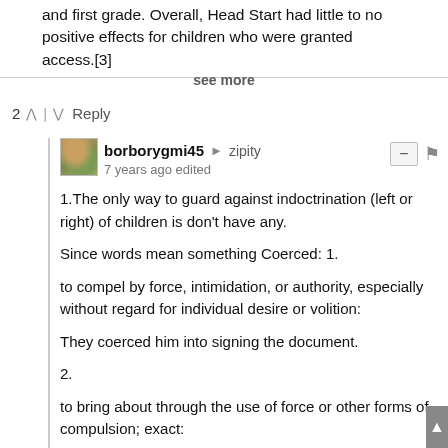and first grade. Overall, Head Start had little to no positive effects for children who were granted access.[3]
see more
2 ^ | v Reply
borborygmi45 → zipity
7 years ago edited
1.The only way to guard against indoctrination (left or right) of children is don't have any.

Since words mean something Coerced: 1.

to compel by force, intimidation, or authority, especially without regard for individual desire or volition:

They coerced him into signing the document.

2.

to bring about through the use of force or other forms of compulsion; exact:

to coerce obedience.